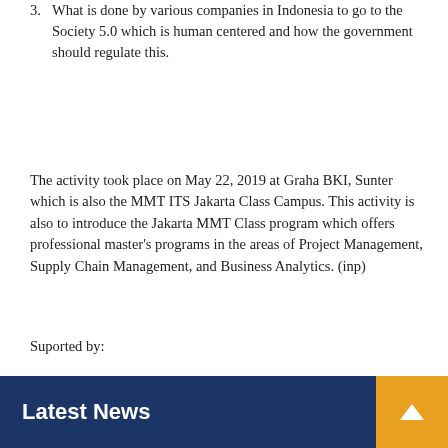3. What is done by various companies in Indonesia to go to the Society 5.0 which is human centered and how the government should regulate this.
The activity took place on May 22, 2019 at Graha BKI, Sunter which is also the MMT ITS Jakarta Class Campus. This activity is also to introduce the Jakarta MMT Class program which offers professional master's programs in the areas of Project Management, Supply Chain Management, and Business Analytics. (inp)
Suported by:
Post Views: 1,352
Latest News